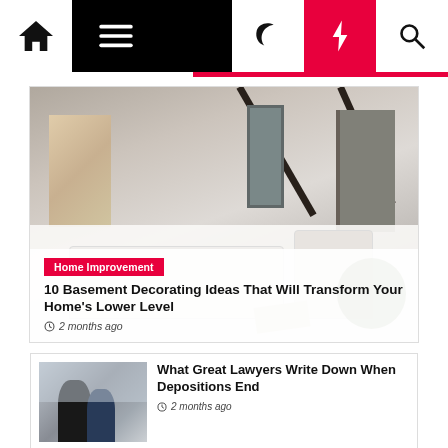Navigation bar with home, menu, moon, bolt, and search icons
[Figure (photo): Interior home photo showing a modern living room with white sofa, staircase railing, artwork on wall, framed picture, and doorway]
Home Improvement
10 Basement Decorating Ideas That Will Transform Your Home's Lower Level
2 months ago
[Figure (photo): Two lawyers in suits looking at documents]
What Great Lawyers Write Down When Depositions End
2 months ago